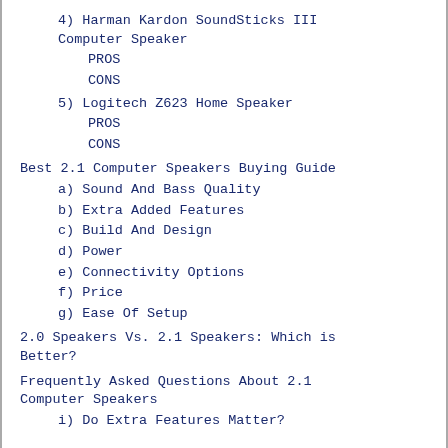4) Harman Kardon SoundSticks III Computer Speaker
PROS
CONS
5) Logitech Z623 Home Speaker
PROS
CONS
Best 2.1 Computer Speakers Buying Guide
a) Sound And Bass Quality
b) Extra Added Features
c) Build And Design
d) Power
e) Connectivity Options
f) Price
g) Ease Of Setup
2.0 Speakers Vs. 2.1 Speakers: Which is Better?
Frequently Asked Questions About 2.1 Computer Speakers
i) Do Extra Features Matter?